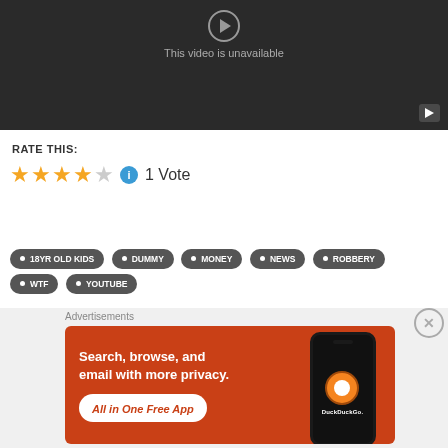[Figure (screenshot): YouTube embedded video player showing 'This video is unavailable' message on dark background with YouTube logo button in bottom right corner]
RATE THIS:
[Figure (infographic): Star rating showing 4 out of 5 stars (4 filled gold stars, 1 empty), with blue info icon and '1 Vote' text]
• 18YR OLD KIDS
• DUMMY
• MONEY
• NEWS
• ROBBERY
• WTF
• YOUTUBE
Advertisements
[Figure (screenshot): DuckDuckGo advertisement banner with orange/red background. Text: 'Search, browse, and email with more privacy. All in One Free App' with DuckDuckGo logo on phone mockup on the right.]